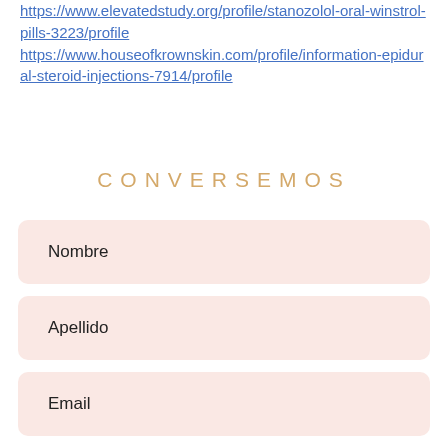https://www.elevatedstudy.org/profile/stanozolol-oral-winstrol-pills-3223/profile
https://www.houseofkrownskin.com/profile/information-epidural-steroid-injections-7914/profile
CONVERSEMOS
Nombre
Apellido
Email
Teléfono
Dirección